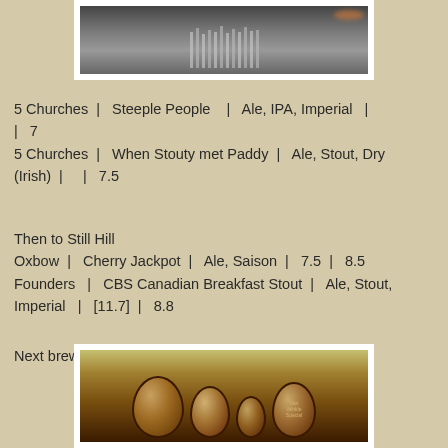[Figure (photo): Interior photo of a bar or brewery showing hanging glasses and equipment]
5 Churches  |  Steeple People  |  Ale, IPA, Imperial  |  |  7
5 Churches  |  When Stouty met Paddy  |  Ale, Stout, Dry (Irish)  |    |  7.5
Then to Still Hill
Oxbow  |  Cherry Jackpot  |  Ale, Saison  |  7.5  |  8.5
Founders  |  CBS Canadian Breakfast Stout  |  Ale, Stout, Imperial  |  [11.7]  |  8.8
Next brewery was Still Hill
[Figure (photo): Wooden barrels stacked on metal racks inside a brewery]